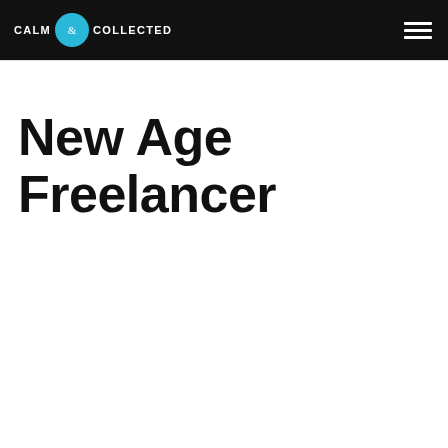CALM & COLLECTED
New Age Freelancer